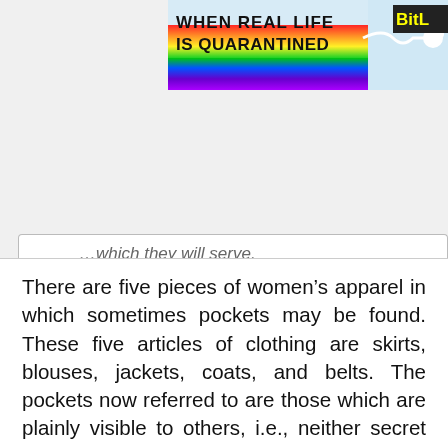[Figure (screenshot): Colorful rainbow banner advertisement with text 'WHEN REAL LIFE IS QUARANTINED' and 'BitL' logo on the right, with a white sperm/arrow graphic element]
...which they will serve.
There are five pieces of women’s apparel in which sometimes pockets may be found. These five articles of clothing are skirts, blouses, jackets, coats, and belts. The pockets now referred to are those which are plainly visible to others, i.e., neither secret nor hidden pockets. These pockets, both in location and design, are made more for decorative purposes than utilitarian. For the reasons stated above, few are useful in trickery. However, some may be altered so as to be useful without changing their outward appearance.